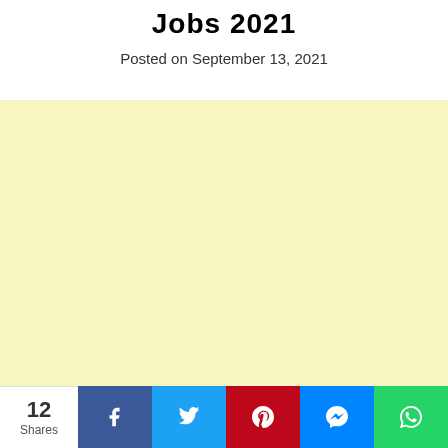Jobs 2021
Posted on September 13, 2021
[Figure (other): Light yellow advertisement or content placeholder block]
12 Shares — social share buttons: Facebook, Twitter, Pinterest, Messenger, WhatsApp